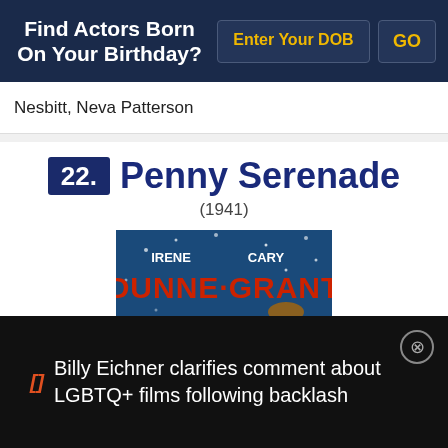Find Actors Born On Your Birthday?
Nesbitt, Neva Patterson
22. Penny Serenade
(1941)
[Figure (illustration): Movie poster for Penny Serenade (1941) featuring Irene Dunne and Cary Grant. Red text reads DUNNE · GRANT on a blue background. Tagline: Theirs The Love We All Dream Of Finding!]
Billy Eichner clarifies comment about LGBTQ+ films following backlash